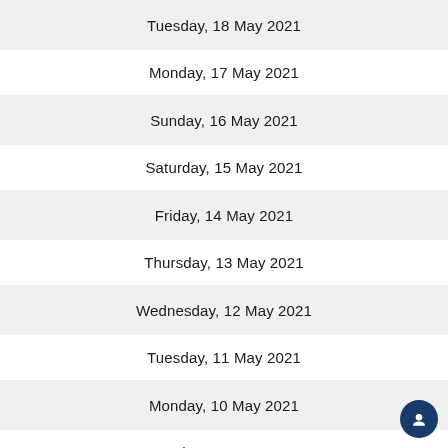Tuesday, 18 May 2021
Monday, 17 May 2021
Sunday, 16 May 2021
Saturday, 15 May 2021
Friday, 14 May 2021
Thursday, 13 May 2021
Wednesday, 12 May 2021
Tuesday, 11 May 2021
Monday, 10 May 2021
Sunday, 09 May 2021